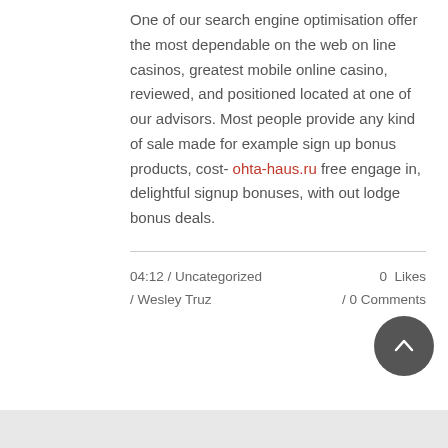One of our search engine optimisation offer the most dependable on the web on line casinos, greatest mobile online casino, reviewed, and positioned located at one of our advisors. Most people provide any kind of sale made for example sign up bonus products, cost- ohta-haus.ru free engage in, delightful signup bonuses, with out lodge bonus deals.
04:12 / Uncategorized / Wesley Truz    0 Likes / 0 Comments